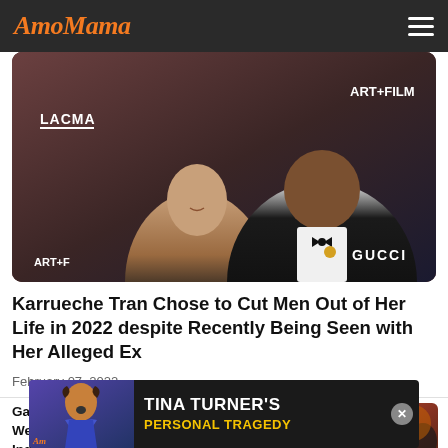AmoMama
[Figure (photo): Karrueche Tran and a man in formal attire at a LACMA ART+FILM GUCCI event, red carpet photo]
Karrueche Tran Chose to Cut Men Out of Her Life in 2022 despite Recently Being Seen with Her Alleged Ex
February 07, 2022
Gabby Sidibe Is 'Against Tradition' for Her Wedding to Fiancé Who Is 'Using' Her for Industry Connections
[Figure (photo): Gabby Sidibe smiling with a man at an event]
[Figure (photo): Advertisement banner: TINA TURNER'S PERSONAL TRAGEDY with AmoMama logo]